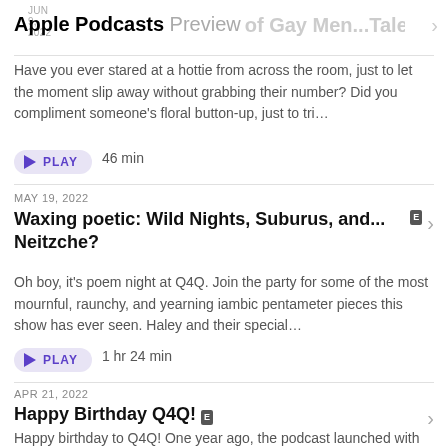JUN 9, 2022
Apple Podcasts Preview of Gay Men...Tales of Missed Connections
Have you ever stared at a hottie from across the room, just to let the moment slip away without grabbing their number? Did you compliment someone's floral button-up, just to tri...
PLAY  46 min
MAY 19, 2022
Waxing poetic: Wild Nights, Suburus, and... Neitzche?
Oh boy, it's poem night at Q4Q. Join the party for some of the most mournful, raunchy, and yearning iambic pentameter pieces this show has ever seen. Haley and their special...
PLAY  1 hr 24 min
APR 21, 2022
Happy Birthday Q4Q!
Happy birthday to Q4Q! One year ago, the podcast launched with our premier episode “Seeking a Buff Danny Devito in Indianapolis.” And what a year it's been! Check ou...
PLAY  15 min